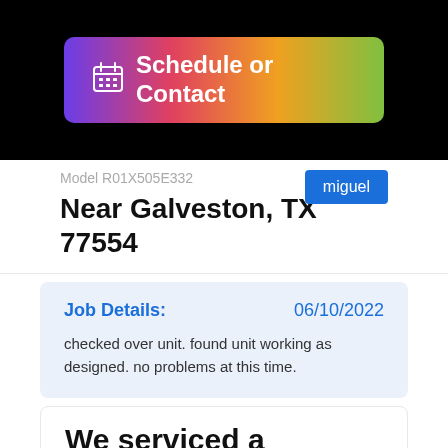[Figure (screenshot): Schedule or Contact button with calendar icon and gradient background (purple to green)]
Model R01X505E332
miguel
Near Galveston, TX 77554
Job Details:
06/10/2022
checked over unit. found unit working as designed. no problems at this time.
We serviced a